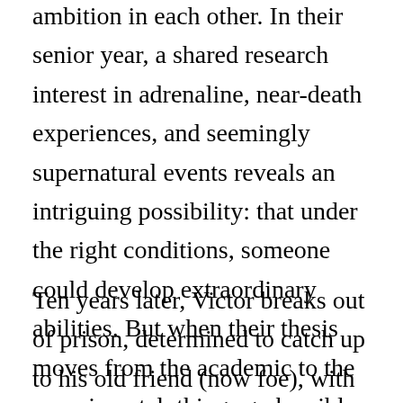ambition in each other. In their senior year, a shared research interest in adrenaline, near-death experiences, and seemingly supernatural events reveals an intriguing possibility: that under the right conditions, someone could develop extraordinary abilities. But when their thesis moves from the academic to the experimental, things go horribly wrong.
Ten years later, Victor breaks out of prison, determined to catch up to his old friend (now foe), with the weapons, might, and means...